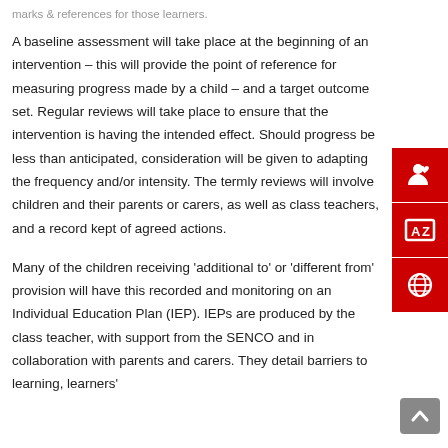A baseline assessment will take place at the beginning of an intervention – this will provide the point of reference for measuring progress made by a child – and a target outcome set. Regular reviews will take place to ensure that the intervention is having the intended effect. Should progress be less than anticipated, consideration will be given to adapting the frequency and/or intensity. The termly reviews will involve children and their parents or carers, as well as class teachers, and a record kept of agreed actions.
Many of the children receiving 'additional to' or 'different from' provision will have this recorded and monitoring on an Individual Education Plan (IEP). IEPs are produced by the class teacher, with support from the SENCO and in collaboration with parents and carers. They detail barriers to learning, learners'